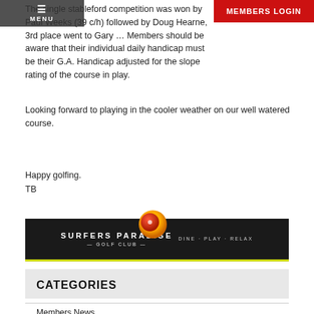The single stableford competition was won by Paul Weeks (39 c/h) followed by Doug Hearne, 3rd place went to Gary … Members should be aware that their individual daily handicap must be their G.A. Handicap adjusted for the slope rating of the course in play.
Looking forward to playing in the cooler weather on our well watered course.
Happy golfing.
TB
[Figure (logo): Surfers Paradise Golf Club logo with golf ball graphic on dark banner. Text: SURFERS PARADISE GOLF CLUB — DINE PLAY RELAX]
CATEGORIES
Members News